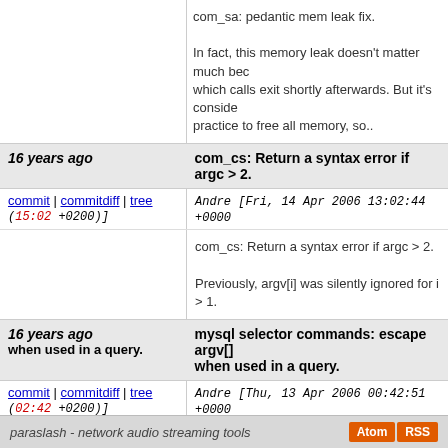com_sa: pedantic mem leak fix.

In fact, this memory leak doesn't matter much bec which calls exit shortly afterwards. But it's conside practice to free all memory, so..
16 years ago | com_cs: Return a syntax error if argc > 2.
commit | commitdiff | tree  Andre [Fri, 14 Apr 2006 13:02:44 +0000 (15:02 +0200)]
com_cs: Return a syntax error if argc > 2.

Previously, argv[i] was silently ignored for i > 1.
16 years ago  mysql selector commands: escape argv[] when used in a query.
commit | commitdiff | tree  Andre [Thu, 13 Apr 2006 00:42:51 +0000 (02:42 +0200)]
mysql selector commands: escape argv[] when us
next
paraslash - network audio streaming tools